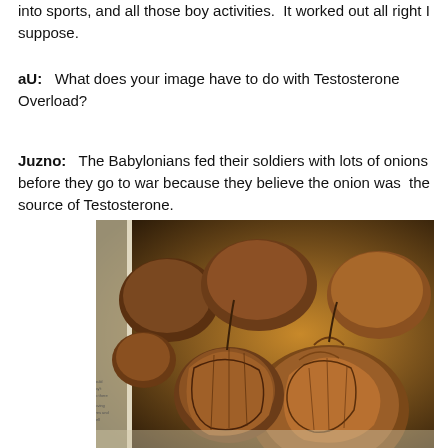into sports, and all those boy activities.  It worked out all right I suppose.
aU:   What does your image have to do with Testosterone Overload?
Juzno:   The Babylonians fed their soldiers with lots of onions before they go to war because they believe the onion was  the source of Testosterone.
[Figure (photo): Close-up photo of a pile of brown dried onions or similar bulbous vegetables, appearing dark brown and textured, shown next to what appears to be the edge of a book or printed material.]